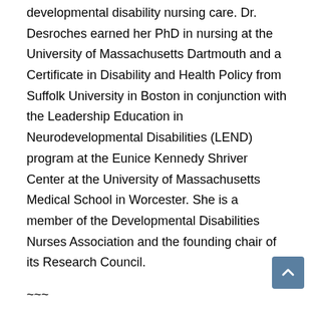developmental disability nursing care. Dr. Desroches earned her PhD in nursing at the University of Massachusetts Dartmouth and a Certificate in Disability and Health Policy from Suffolk University in Boston in conjunction with the Leadership Education in Neurodevelopmental Disabilities (LEND) program at the Eunice Kennedy Shriver Center at the University of Massachusetts Medical School in Worcester. She is a member of the Developmental Disabilities Nurses Association and the founding chair of its Research Council.
~~~
COVID-19 Webinar Series is presented by the HealthMatters Program, Department of Disability and Human Development, College of Applied Health Sciences, University of Illinois at Chicago with continued partnership with Project SEARCH, a leader in securing competitive employment for people with disabilities based